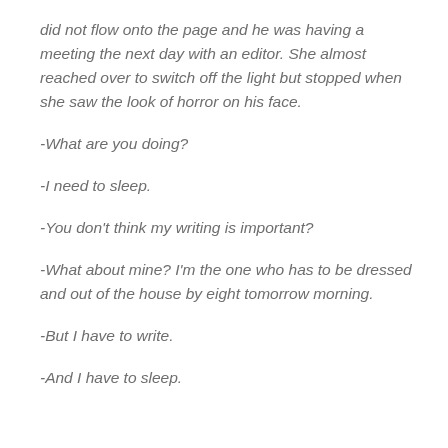did not flow onto the page and he was having a meeting the next day with an editor. She almost reached over to switch off the light but stopped when she saw the look of horror on his face.
-What are you doing?
-I need to sleep.
-You don't think my writing is important?
-What about mine? I'm the one who has to be dressed and out of the house by eight tomorrow morning.
-But I have to write.
-And I have to sleep.